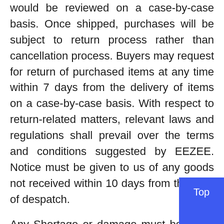would be reviewed on a case-by-case basis. Once shipped, purchases will be subject to return process rather than cancellation process. Buyers may request for return of purchased items at any time within 7 days from the delivery of items on a case-by-case basis. With respect to return-related matters, relevant laws and regulations shall prevail over the terms and conditions suggested by EEZEE. Notice must be given to us of any goods not received within 10 days from the date of despatch.
Any Shortage or damage must be noted within 72 hours of receipt of goods.
Complaints can only be accepted if made in writing within 30 days of receipt of goods.